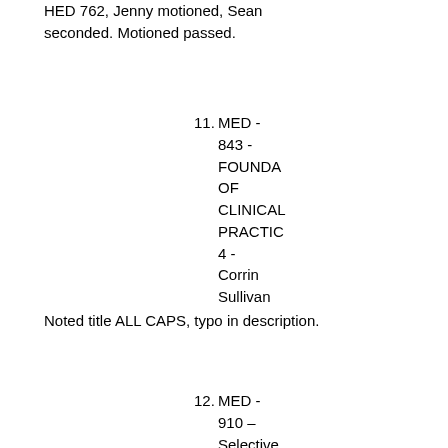HED 762, Jenny motioned, Sean seconded. Motioned passed.
11. MED - 843 - FOUNDATIONS OF CLINICAL PRACTICE 4 - Corrin Sullivan
Noted title ALL CAPS, typo in description.
12. MED - 910 – Selective